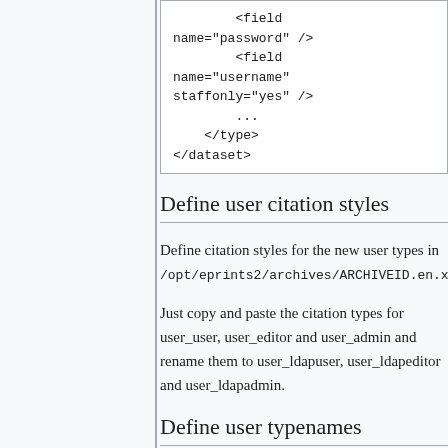[Figure (screenshot): Code block showing XML snippet with field tags for password and username with staffonly attribute, closing type and dataset tags]
Define user citation styles
Define citation styles for the new user types in /opt/eprints2/archives/ARCHIVEID.en.xml:
Just copy and paste the citation types for user_user, user_editor and user_admin and rename them to user_ldapuser, user_ldapeditor and user_ldapadmin.
Define user typenames